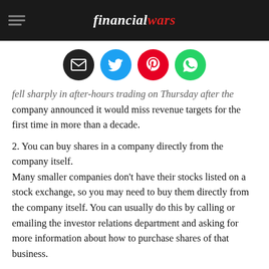financial wars
[Figure (infographic): Four social sharing icons in circles: email (black), Twitter (blue), Pinterest (red), WhatsApp (green)]
fell sharply in after-hours trading on Thursday after the company announced it would miss revenue targets for the first time in more than a decade.
2. You can buy shares in a company directly from the company itself.
Many smaller companies don't have their stocks listed on a stock exchange, so you may need to buy them directly from the company itself. You can usually do this by calling or emailing the investor relations department and asking for more information about how to purchase shares of that business.
3. You can also buy shares through a broker.
If you want to buy shares of a company that is publicly